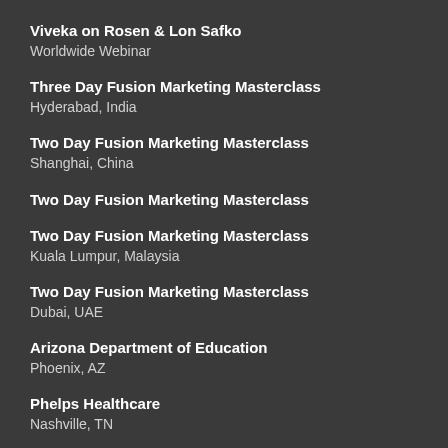Viveka on Rosen & Lon Safko
Worldwide Webinar
Three Day Fusion Marketing Masterclass
Hyderabad, India
Two Day Fusion Marketing Masterclass
Shanghai, China
Two Day Fusion Marketing Masterclass
Two Day Fusion Marketing Masterclass
Kuala Lumpur, Malaysia
Two Day Fusion Marketing Masterclass
Dubai, UAE
Arizona Department of Education
Phoenix, AZ
Phelps Healthcare
Nashville, TN